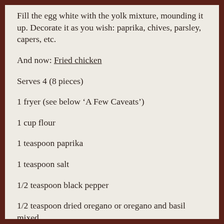Fill the egg white with the yolk mixture, mounding it up. Decorate it as you wish: paprika, chives, parsley, capers, etc.
And now: Fried chicken
Serves 4 (8 pieces)
1 fryer (see below ‘A Few Caveats’)
1 cup flour
1 teaspoon paprika
1 teaspoon salt
1/2 teaspoon black pepper
1/2 teaspoon dried oregano or oregano and basil mixed